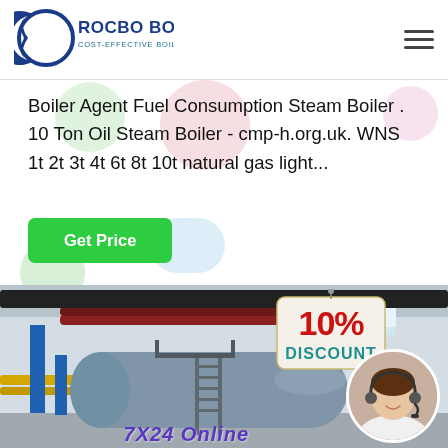[Figure (logo): Rocbo Boiler logo with crescent moon arc and text 'ROCBO BOILER - COST-EFFECTIVE BOILER SUPPLIER']
Boiler Agent Fuel Consumption Steam Boiler . 10 Ton Oil Steam Boiler - cmp-h.org.uk. WNS 1t 2t 3t 4t 6t 8t 10t natural gas light...
[Figure (other): Green 'Get Price' button]
[Figure (photo): Industrial boiler in a factory setting with yellow pipes, blue support structures, large horizontal cylindrical boiler vessel. Overlay shows 10% DISCOUNT tag and customer service representative in bottom right circle. '7X24 Online' text visible at bottom.]